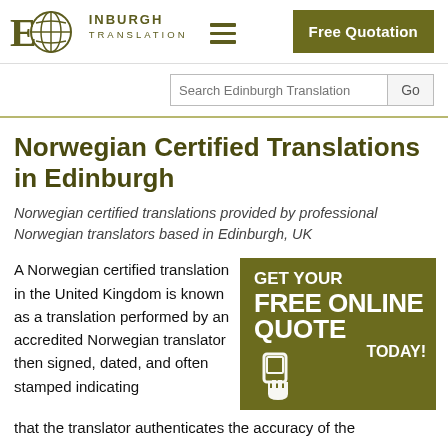[Figure (logo): Edinburgh Translation logo with globe icon, large E, EDINBURGH in caps, TRANSLATION below]
Free Quotation
Search Edinburgh Translation
Norwegian Certified Translations in Edinburgh
Norwegian certified translations provided by professional Norwegian translators based in Edinburgh, UK
A Norwegian certified translation in the United Kingdom is known as a translation performed by an accredited Norwegian translator then signed, dated, and often stamped indicating that the translator authenticates the accuracy of the
[Figure (infographic): Dark olive green banner: GET YOUR FREE ONLINE QUOTE TODAY! with hand/phone icon]